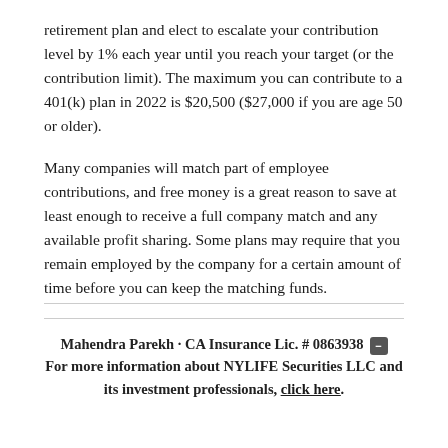retirement plan and elect to escalate your contribution level by 1% each year until you reach your target (or the contribution limit). The maximum you can contribute to a 401(k) plan in 2022 is $20,500 ($27,000 if you are age 50 or older).
Many companies will match part of employee contributions, and free money is a great reason to save at least enough to receive a full company match and any available profit sharing. Some plans may require that you remain employed by the company for a certain amount of time before you can keep the matching funds.
Mahendra Parekh · CA Insurance Lic. # 0863938 For more information about NYLIFE Securities LLC and its investment professionals, click here.